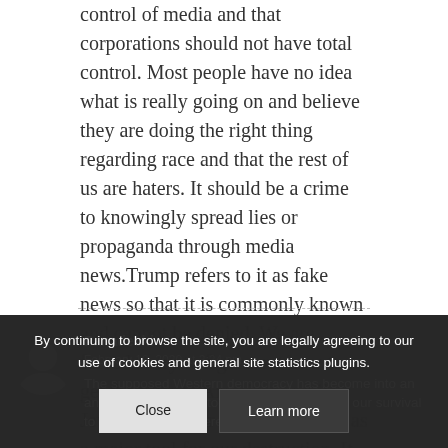control of media and that corporations should not have total control. Most people have no idea what is really going on and believe they are doing the right thing regarding race and that the rest of us are haters. It should be a crime to knowingly spread lies or propaganda through media news.Trump refers to it as fake news so that it is commonly known and cannot be denied. We are forced to try to figure out how to get the truth to Americans while Jews can use our public airwaves as a major tool for our destruction. It seems that control of the media should be a priority and worth fighting for and making a public issue and fuss about.
Panadechi
February 19, 2020 at 2:24 pm
The supposed Western democracy has be... into an anti-white Zionist plu... e essential for our survival to re-found somewhere virgin...
By continuing to browse the site, you are legally agreeing to our use of cookies and general site statistics plugins.